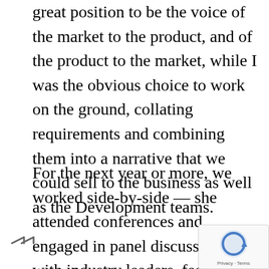great position to be the voice of the market to the product, and of the product to the market, while I was the obvious choice to work on the ground, collating requirements and combining them into a narrative that we could sell to the business as well as the Development teams.
For the next year or more, we worked side-by-side — she attended conferences and engaged in panel discussions with industry leaders, feeding me detailed reports about what was working for them, what wasn't, what their workflows looked like, and whatever wild concepts they would come up with over